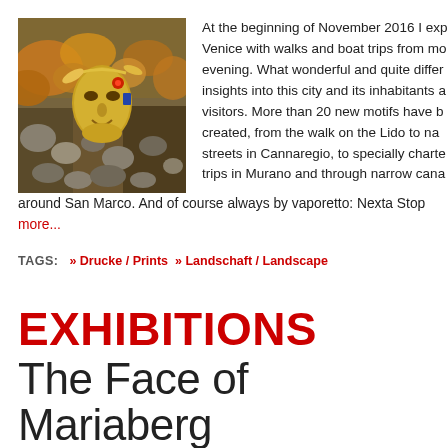[Figure (photo): A golden Venetian carnival mask surrounded by colorful decorative elements and foliage in a shop display.]
At the beginning of November 2016 I exp Venice with walks and boat trips from mo evening. What wonderful and quite differ insights into this city and its inhabitants a visitors. More than 20 new motifs have b created, from the walk on the Lido to na streets in Cannaregio, to specially charte trips in Murano and through narrow cana around San Marco. And of course always by vaporetto: Nexta Stop more...
TAGS:  » Drucke / Prints  » Landschaft / Landscape
EXHIBITIONS
The Face of Mariaberg